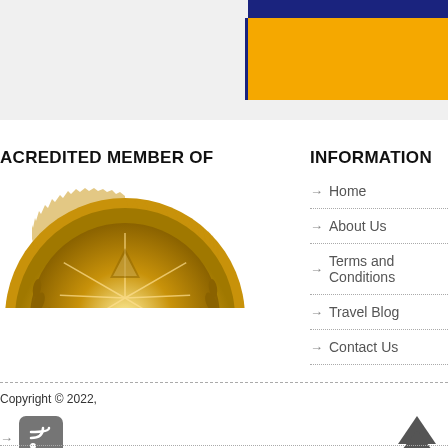[Figure (other): Top banner area with gold and dark blue block in upper right corner]
ACREDITED MEMBER OF
[Figure (illustration): Gold award/accreditation medal seal, half visible, with laurel wreath details]
INFORMATION
→  Home
→  About Us
→  Terms and Conditions
→  Travel Blog
→  Contact Us
Copyright © 2022,
[Figure (logo): RSS feed icon in grey rounded square]
[Figure (illustration): Back to top chevron/caret up arrow icon]